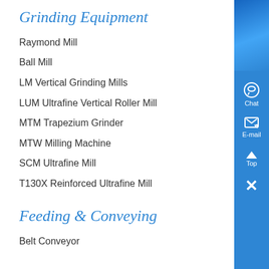Grinding Equipment
Raymond Mill
Ball Mill
LM Vertical Grinding Mills
LUM Ultrafine Vertical Roller Mill
MTM Trapezium Grinder
MTW Milling Machine
SCM Ultrafine Mill
T130X Reinforced Ultrafine Mill
Feeding & Conveying
Belt Conveyor
[Figure (other): Blue sidebar with chat and email icons, top button, and close button]